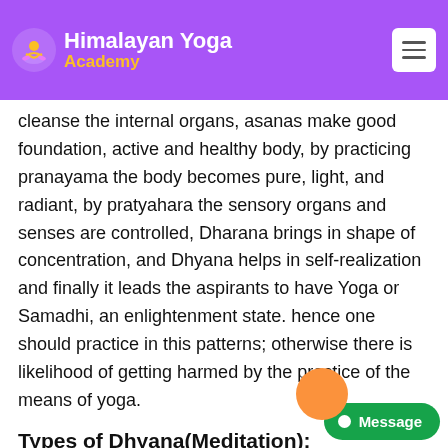Himalayan Yoga Academy
scriptures, before Dhyana practicing in Yoga, it is very important to cleanse the nadis, Shataka cleanse the internal organs, asanas make good foundation, active and healthy body, by practicing pranayama the body becomes pure, light, and radiant, by pratyahara the sensory organs and senses are controlled, Dharana brings in shape of concentration, and Dhyana helps in self-realization and finally it leads the aspirants to have Yoga or Samadhi, an enlightenment state. hence one should practice in this patterns; otherwise there is likelihood of getting harmed by the practice of the means of yoga.
Types of Dhyana(Meditation):
According to Gheranda Samhita, there are three types of Dhyana: Sthula, Jyotir and Sukshma